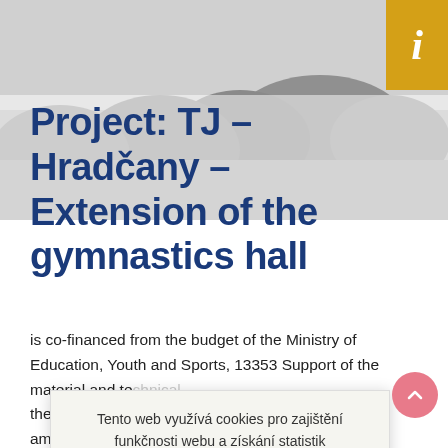[Figure (photo): Greyscale outdoor/landscape background image used as hero banner behind the title]
Project: TJ – Hradčany – Extension of the gymnastics hall
is co-financed from the budget of the Ministry of Education, Youth and Sports, 13353 Support of the material and te… the identificat… amount of CZK… from the budg… program Supp… the capital. the…
Tento web využívá cookies pro zajištění funkčnosti webu a získání statistik návštěvnosti webu. více  Ok, rozumím